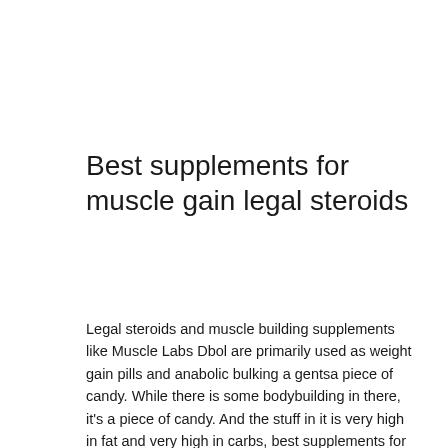Best supplements for muscle gain legal steroids
Legal steroids and muscle building supplements like Muscle Labs Dbol are primarily used as weight gain pills and anabolic bulking a gentsa piece of candy. While there is some bodybuilding in there, it's a piece of candy. And the stuff in it is very high in fat and very high in carbs, best supplements for muscle growth and fat loss. In fact, if you take the first 3 servings of it, you WILL be at a disadvantage to your competition in terms of strength since you're gaining too much muscle for your body to use efficiently. To give you a quick example: If you want to look like a bodybuilder, you'd need to consume 150g of the stuff, best